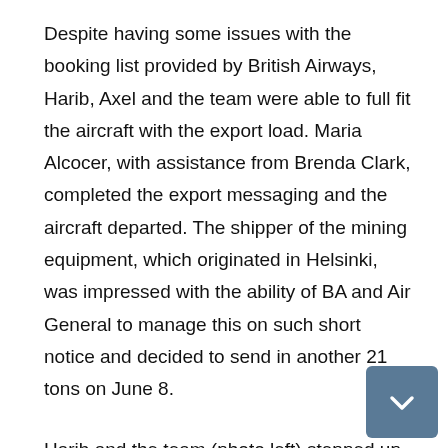Despite having some issues with the booking list provided by British Airways, Harib, Axel and the team were able to full fit the aircraft with the export load. Maria Alcocer, with assistance from Brenda Clark, completed the export messaging and the aircraft departed. The shipper of the mining equipment, which originated in Helsinki, was impressed with the ability of BA and Air General to manage this on such short notice and decided to send in another 21 tons on June 8.
Harib and the team (photo left) stepped up to the challenge and Axel extended his stay to assist with the export load. Given today's economic situation in the air cargo business, this was an unexpected boost in tonnage. Our team at the Home Office are very proud of the whole team for stepping up to the challenge. Way to